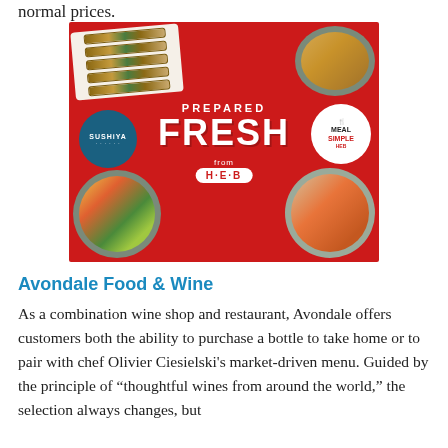normal prices.
[Figure (photo): H-E-B advertisement showing prepared fresh foods on a red background. Features Sushiya and Meal Simple logos, with photos of sushi rolls, grain bowls, and the text 'PREPARED FRESH from H-E-B'.]
Avondale Food & Wine
As a combination wine shop and restaurant, Avondale offers customers both the ability to purchase a bottle to take home or to pair with chef Olivier Ciesielski's market-driven menu. Guided by the principle of “thoughtful wines from around the world,” the selection always changes, but